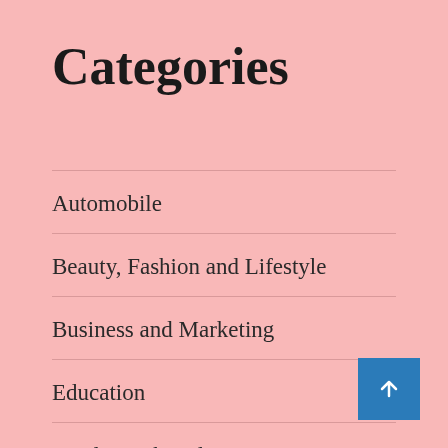Categories
Automobile
Beauty, Fashion and Lifestyle
Business and Marketing
Education
Food, Drink and Desserts Recipes
General ZONE